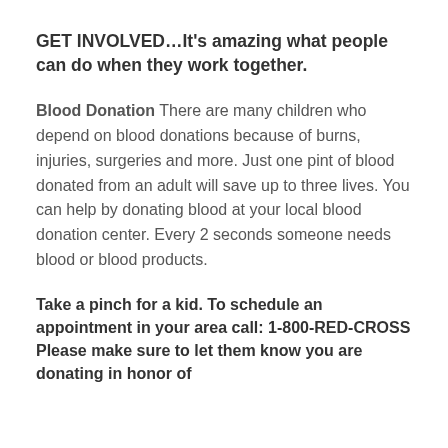GET INVOLVED…It's amazing what people can do when they work together.
Blood Donation There are many children who depend on blood donations because of burns, injuries, surgeries and more. Just one pint of blood donated from an adult will save up to three lives. You can help by donating blood at your local blood donation center. Every 2 seconds someone needs blood or blood products.
Take a pinch for a kid. To schedule an appointment in your area call: 1-800-RED-CROSS Please make sure to let them know you are donating in honor of